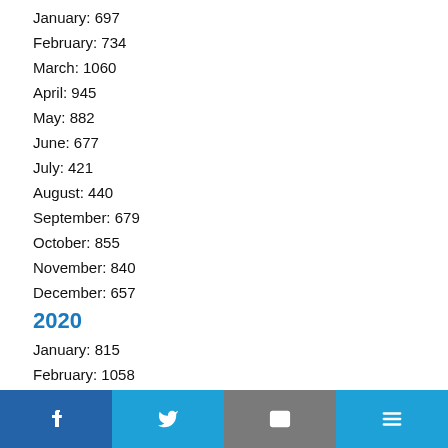January: 697
February: 734
March: 1060
April: 945
May: 882
June: 677
July: 421
August: 440
September: 679
October: 855
November: 840
December: 657
2020
January: 815
February: 1058
March: 1094
April: 744
Facebook | Twitter | Email | Menu